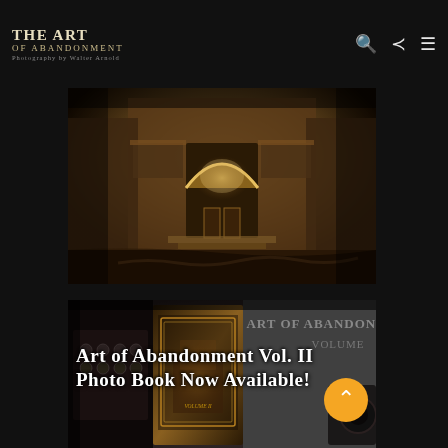The Art of Abandonment — Photography by Walter Arnold
[Figure (photo): Abandoned ornate building interior/exterior with arched entrance, worn floors, sepia-toned dramatic lighting]
[Figure (photo): Photo book display showing 'Art of Abandonment Volume II' book covers with vintage typewriter and decorative ornate details]
Art of Abandonment Vol. II Photo Book Now Available!